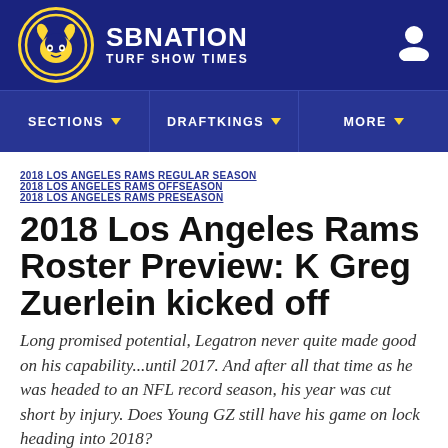SB NATION / TURF SHOW TIMES
SECTIONS  DRAFTKINGS  MORE
2018 LOS ANGELES RAMS REGULAR SEASON  2018 LOS ANGELES RAMS OFFSEASON  2018 LOS ANGELES RAMS PRESEASON
2018 Los Angeles Rams Roster Preview: K Greg Zuerlein kicked off
Long promised potential, Legatron never quite made good on his capability...until 2017. And after all that time as he was headed to an NFL record season, his year was cut short by injury. Does Young GZ still have his game on lock heading into 2018?